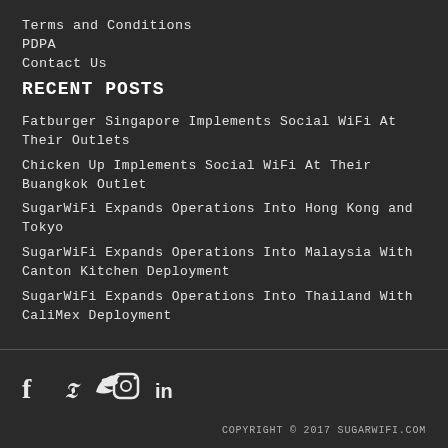Terms and Conditions
PDPA
Contact Us
RECENT POSTS
Fatburger Singapore Implements Social WiFi At Their Outlets
Chicken Up Implements Social WiFi At Their Buangkok Outlet
SugarWiFi Expands Operations Into Hong Kong and Tokyo
SugarWiFi Expands Operations Into Malaysia With Canton Kitchen Deployment
SugarWiFi Expands Operations Into Thailand With CaliMex Deployment
COPYRIGHT © 2017 SUGARWIFI.COM